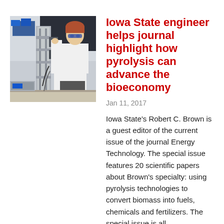[Figure (photo): A researcher in a white lab coat and safety glasses working with scientific equipment in a laboratory setting.]
Iowa State engineer helps journal highlight how pyrolysis can advance the bioeconomy
Jan 11, 2017
Iowa State's Robert C. Brown is a guest editor of the current issue of the journal Energy Technology. The special issue features 20 scientific papers about Brown's specialty: using pyrolysis technologies to convert biomass into fuels, chemicals and fertilizers. The special issue is all about "discovering and